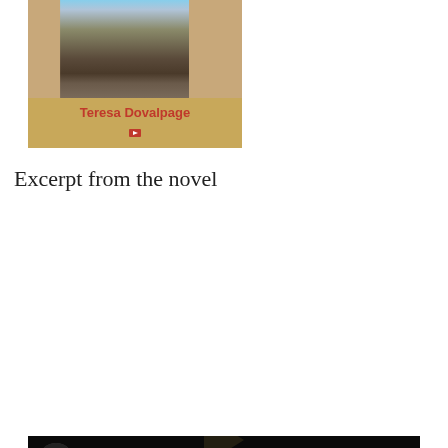[Figure (photo): Book cover for 'Habanera' by Teresa Dovalpage. Gold/tan background with a photo of a narrow Cuban street at top. Author name 'Teresa Dovalpage' in red bold text, with a small red publisher logo icon below.]
Excerpt from the novel
[Figure (screenshot): YouTube video player showing 'Habanera, A Portrait of a Cuban Fa...' with a camera logo thumbnail on the left, a three-dot menu on the right, and a dark street scene with a play button arrow in the center.]